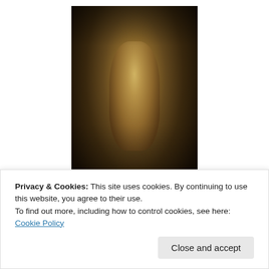[Figure (photo): A dark-toned photograph of a sculpture or figurine of a warrior/knight figure, displayed in what appears to be a narrow vertical frame or case. The image has golden-brown tones against a very dark background.]
To be critiqued or not to be critiqued: that is the question.
Or at least, it has been lately: two of my crit group have blogged on the subject. Lamellae offers a five-post selection of pros and cons; Ellen Gregory ponders the
Privacy & Cookies: This site uses cookies. By continuing to use this website, you agree to their use.
To find out more, including how to control cookies, see here: Cookie Policy
Close and accept